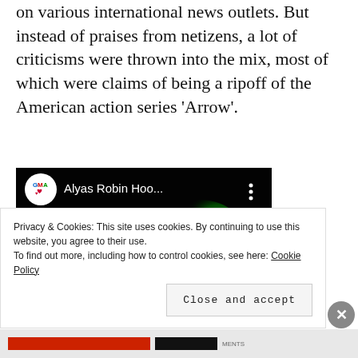on various international news outlets. But instead of praises from netizens, a lot of criticisms were thrown into the mix, most of which were claims of being a ripoff of the American action series 'Arrow'.
[Figure (screenshot): YouTube video thumbnail showing GMA channel logo and title 'Alyas Robin Hoo...' with a dark video frame featuring purple light streaks and green lighting effects.]
Privacy & Cookies: This site uses cookies. By continuing to use this website, you agree to their use.
To find out more, including how to control cookies, see here: Cookie Policy
Close and accept